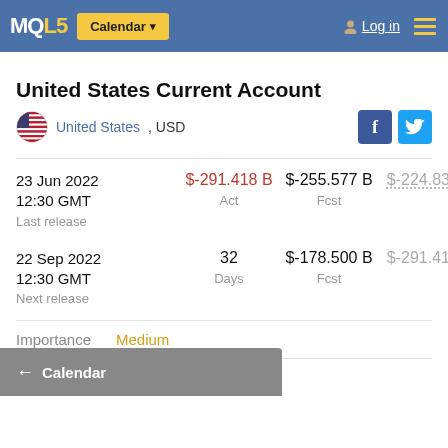MQL5 | Calendar | Log in
United States Current Account
United States, USD
|  | Act | Fcst | Prev |
| --- | --- | --- | --- |
| 23 Jun 2022 12:30 GMT Last release | $-291.418 B | $-255.577 B | $-224.837 B |
| 22 Sep 2022 12:30 GMT Next release | 32 Days | $-178.500 B | $-291.418 B |
Importance
Medium
Sector
Trade